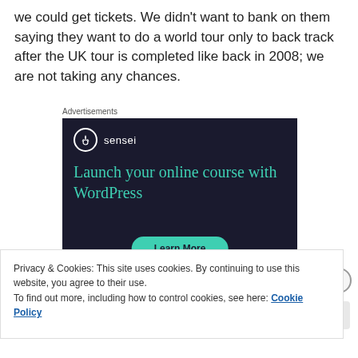we could get tickets. We didn't want to bank on them saying they want to do a world tour only to back track after the UK tour is completed like back in 2008; we are not taking any chances.
Advertisements
[Figure (screenshot): Sensei advertisement banner with dark navy background. Shows Sensei logo (tree icon in circle) and text 'Launch your online course with WordPress' in teal/green color, with a 'Learn More' teal button at the bottom.]
Privacy & Cookies: This site uses cookies. By continuing to use this website, you agree to their use.
To find out more, including how to control cookies, see here: Cookie Policy
Close and accept